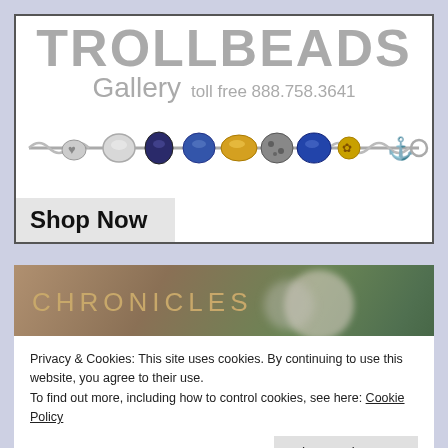[Figure (illustration): Trollbeads Gallery advertisement banner with logo text 'TROLLBEADS Gallery toll free 888.758.3641', a charm bracelet illustration, and a 'Shop Now' button]
[Figure (photo): Chronicles section with blurred jewelry/beads photo background and 'CHRONICLES' text overlay]
Privacy & Cookies: This site uses cookies. By continuing to use this website, you agree to their use.
To find out more, including how to control cookies, see here: Cookie Policy
Close and accept